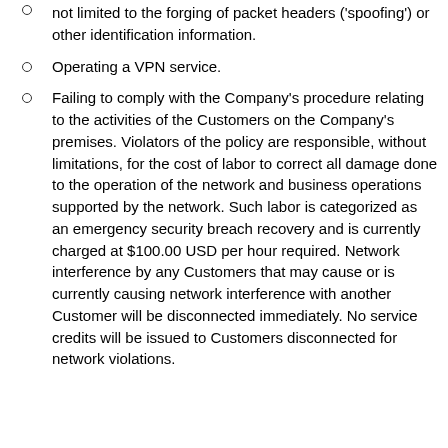not limited to the forging of packet headers ('spoofing') or other identification information.
Operating a VPN service.
Failing to comply with the Company's procedure relating to the activities of the Customers on the Company's premises. Violators of the policy are responsible, without limitations, for the cost of labor to correct all damage done to the operation of the network and business operations supported by the network. Such labor is categorized as an emergency security breach recovery and is currently charged at $100.00 USD per hour required. Network interference by any Customers that may cause or is currently causing network interference with another Customer will be disconnected immediately. No service credits will be issued to Customers disconnected for network violations.